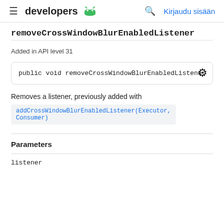≡ developers 🤖  🔍  Kirjaudu sisään
removeCrossWindowBlurEnabledListener
Added in API level 31
public void removeCrossWindowBlurEnabledListener (Co
Removes a listener, previously added with addCrossWindowBlurEnabledListener(Executor, Consumer)
Parameters
listener